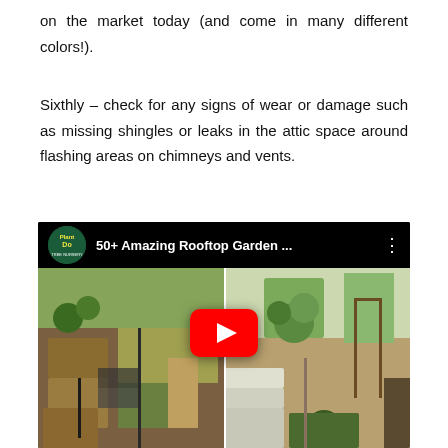on the market today (and come in many different colors!).
Sixthly – check for any signs of wear or damage such as missing shingles or leaks in the attic space around flashing areas on chimneys and vents.
[Figure (screenshot): YouTube video thumbnail for '50+ Amazing Rooftop Garden ...' by PlantDo channel, showing two rooftop garden scenes side by side with a YouTube play button overlay.]